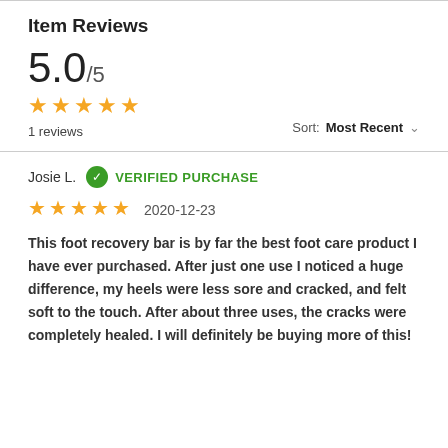Item Reviews
5.0 / 5
★★★★★
1 reviews
Sort: Most Recent
Josie L.   ✓ VERIFIED PURCHASE
★★★★★   2020-12-23
This foot recovery bar is by far the best foot care product I have ever purchased. After just one use I noticed a huge difference, my heels were less sore and cracked, and felt soft to the touch. After about three uses, the cracks were completely healed. I will definitely be buying more of this!